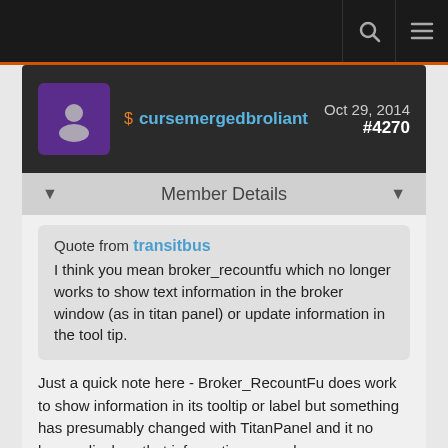Navigation bar with search and menu icons
cursemergedbroliant  Oct 29, 2014  #4270
Member Details
Quote from transitbus
I think you mean broker_recountfu which no longer works to show text information in the broker window (as in titan panel) or update information in the tool tip.
Just a quick note here - Broker_RecountFu does work to show information in its tooltip or label but something has presumably changed with TitanPanel and it no longer displays that information properly.
If you want a solution that works right now, both